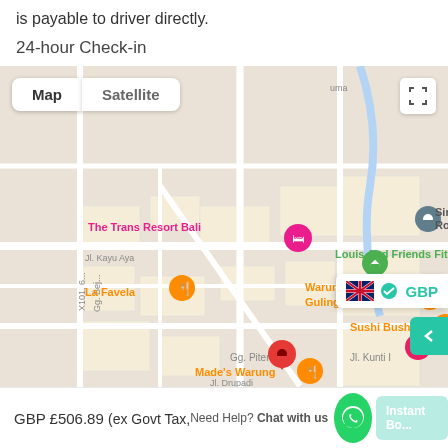is payable to driver directly.
24-hour Check-in
[Figure (map): Google Maps view of Seminyak/Bali area showing pins for The Trans Resort Bali, La Favela, Warung Babi Guling Pak Malen, Louis And Friends Fitness, Sushi Bushi, Made's Warung, Sense Sunset Se..., and Sini Vie Villa Romantic H... with Map/Satellite toggle and GBP currency panel overlay]
GBP £506.89 (ex Govt Tax,
Need Help? Chat with us